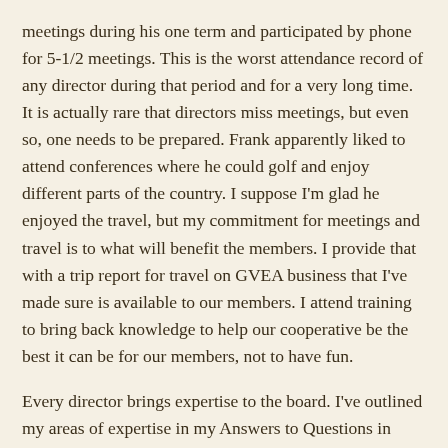meetings during his one term and participated by phone for 5-1/2 meetings. This is the worst attendance record of any director during that period and for a very long time. It is actually rare that directors miss meetings, but even so, one needs to be prepared. Frank apparently liked to attend conferences where he could golf and enjoy different parts of the country. I suppose I'm glad he enjoyed the travel, but my commitment for meetings and travel is to what will benefit the members. I provide that with a trip report for travel on GVEA business that I've made sure is available to our members. I attend training to bring back knowledge to help our cooperative be the best it can be for our members, not to have fun.
Every director brings expertise to the board. I've outlined my areas of expertise in my Answers to Questions in ballot materials. I do not have a personal agenda, but I have been successful in helping the board and GVEA moving forward in areas of communication, technology, transparency, member engagement, and working toward a future looking electric cooperative for Interior Alaskans.